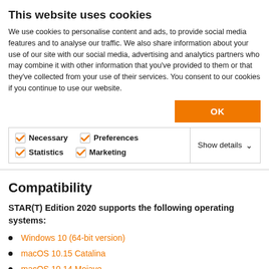This website uses cookies
We use cookies to personalise content and ads, to provide social media features and to analyse our traffic. We also share information about your use of our site with our social media, advertising and analytics partners who may combine it with other information that you've provided to them or that they've collected from your use of their services. You consent to our cookies if you continue to use our website.
Compatibility
STAR(T) Edition 2020 supports the following operating systems:
Windows 10 (64-bit version)
macOS 10.15 Catalina
macOS 10.14 Mojave
macOS 10.13 High Sierra